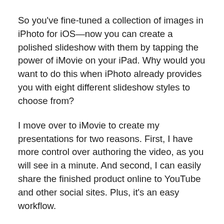So you've fine-tuned a collection of images in iPhoto for iOS—now you can create a polished slideshow with them by tapping the power of iMovie on your iPad. Why would you want to do this when iPhoto already provides you with eight different slideshow styles to choose from?
I move over to iMovie to create my presentations for two reasons. First, I have more control over authoring the video, as you will see in a minute. And second, I can easily share the finished product online to YouTube and other social sites. Plus, it's an easy workflow.
Selecting images in iPhoto for iOS
Once your pictures are in good shape in iPhoto,